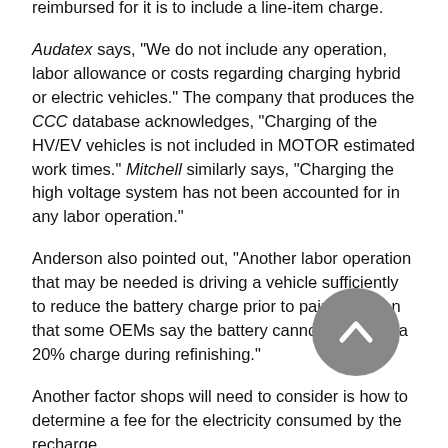reimbursed for it is to include a line-item charge.
Audatex says, "We do not include any operation, labor allowance or costs regarding charging hybrid or electric vehicles." The company that produces the CCC database acknowledges, "Charging of the HV/EV vehicles is not included in MOTOR estimated work times." Mitchell similarly says, "Charging the high voltage system has not been accounted for in any labor operation."
Anderson also pointed out, "Another labor operation that may be needed is driving a vehicle sufficiently to reduce the battery charge prior to painting given that some OEMs say the battery cannot be above a 20% charge during refinishing."
Another factor shops will need to consider is how to determine a fee for the electricity consumed by the recharge.
"There are several companies that sell charging stations that have the ability to produce a receipt similar to a gas pump,"